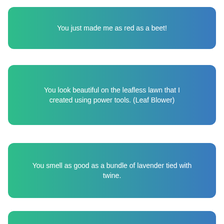You just made me as red as a beet!
You look beautiful on the leafless lawn that I created using power tools. (Leaf Blower)
You smell as good as a bundle of lavender tied with twine.